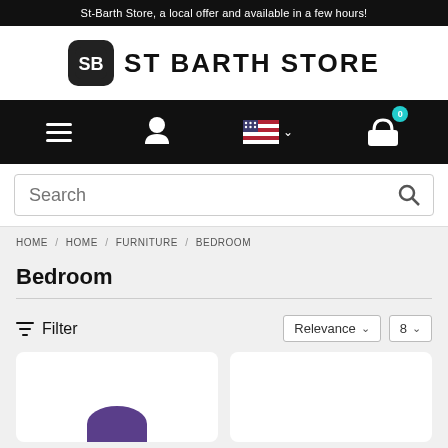St-Barth Store, a local offer and available in a few hours!
[Figure (logo): St Barth Store logo with SB icon on black rounded square and bold text ST BARTH STORE]
[Figure (screenshot): Navigation bar with hamburger menu, user icon, US flag language selector, and shopping cart with badge 0]
[Figure (screenshot): Search input box with placeholder text 'Search' and magnifier icon]
HOME / HOME / FURNITURE / BEDROOM
Bedroom
Filter   Relevance  8
[Figure (photo): Two product cards partially visible, first shows a purple rounded shape at bottom center]